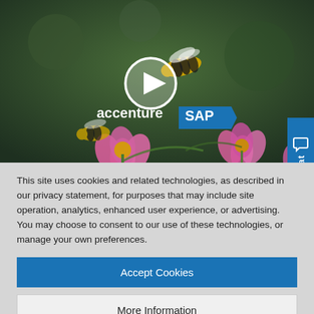[Figure (screenshot): Video thumbnail showing bees flying over pink flowers with a play button overlay and accenture/SAP logos. A blue chat tab is on the right side.]
This site uses cookies and related technologies, as described in our privacy statement, for purposes that may include site operation, analytics, enhanced user experience, or advertising. You may choose to consent to our use of these technologies, or manage your own preferences.
Accept Cookies
More Information
Privacy Policy | Powered by: TrustArc